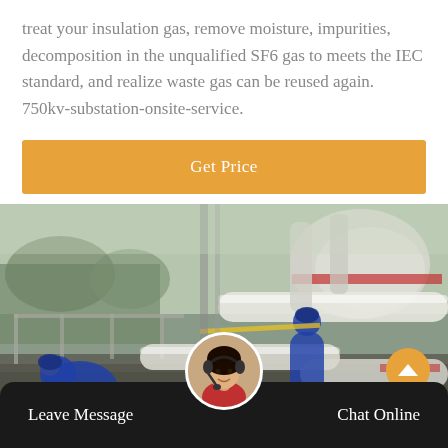treat your insulation gas, remove moisture, impurities, decomposition in the unqualified SF6 gas to meets the IEC standard, and realize waste gas can be reused again. 750kv-substation-onsite-service.
Get Price
[Figure (photo): Workers in blue uniforms servicing large industrial SF6 gas equipment and pipes at a 750kv substation onsite. Heavy pipe infrastructure and machinery visible in background.]
Leave Message
Chat Online